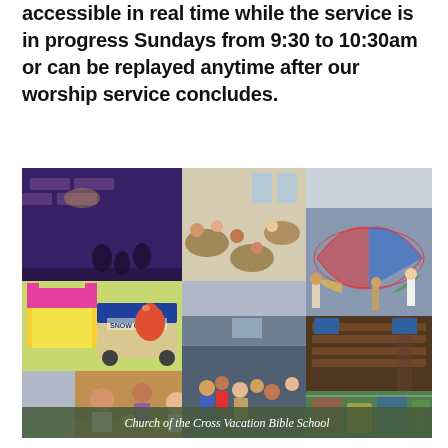accessible in real time while the service is in progress Sundays from 9:30 to 10:30am or can be replayed anytime after our worship service concludes.
[Figure (photo): Photo collage of Church of the Cross Vacation Bible School activities: children at tables, parachute games, bounce house, snow cone truck, crafts, and church interior scenes.]
Church of the Cross Vacation Bible School